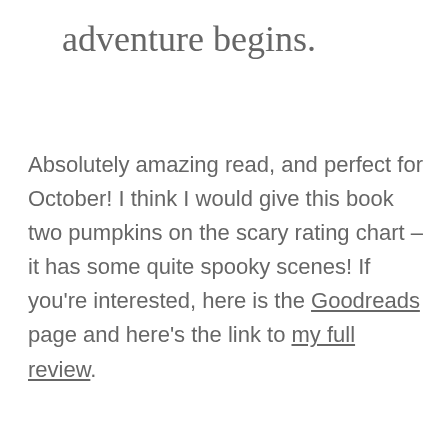adventure begins.
Absolutely amazing read, and perfect for October! I think I would give this book two pumpkins on the scary rating chart – it has some quite spooky scenes! If you're interested, here is the Goodreads page and here's the link to my full review.